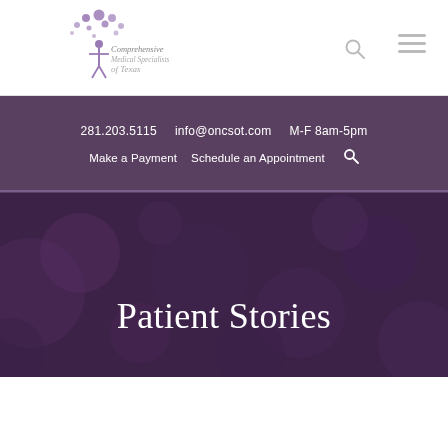[Figure (logo): Comprehensive Medical Specialists of Texas logo with decorative circles and figure]
281.203.5115   info@oncsot.com   M-F 8am-5pm
Make a Payment   Schedule an Appointment
Patient Stories